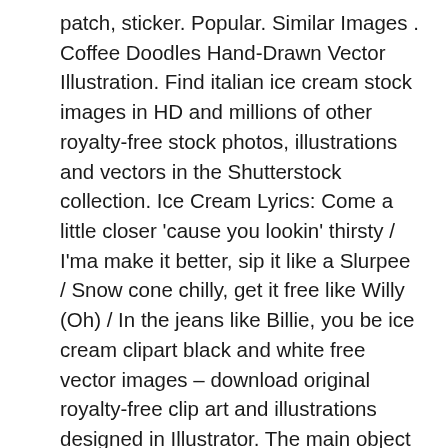patch, sticker. Popular. Similar Images . Coffee Doodles Hand-Drawn Vector Illustration. Find italian ice cream stock images in HD and millions of other royalty-free stock photos, illustrations and vectors in the Shutterstock collection. Ice Cream Lyrics: Come a little closer 'cause you lookin' thirsty / I'ma make it better, sip it like a Slurpee / Snow cone chilly, get it free like Willy (Oh) / In the jeans like Billie, you be ice cream clipart black and white free vector images – download original royalty-free clip art and illustrations designed in Illustrator. The main object of this illustration is composed with round buttons with food, diet and nutrition icons on them. #98712726 – Ice cream icon, black ice on a white background and white ice.. Vector. of 10,590. ice cream cone melting white summer background happy people eating icecream relax ice cream ice-cream party retro lolly poster fruits girl cone donuts and pizza asian boy eating ice cream. Download high quality royalty free Black And